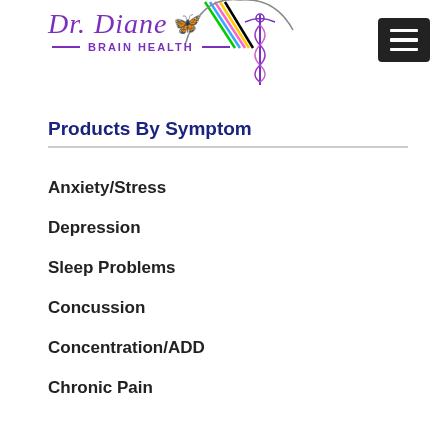[Figure (logo): Dr. Diane Brain Health logo with butterfly and caduceus symbol, rainbow decorative element at top]
Products By Symptom
Anxiety/Stress
Depression
Sleep Problems
Concussion
Concentration/ADD
Chronic Pain